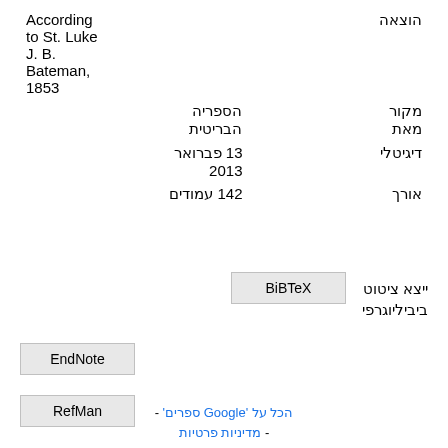| שדה | ערך |
| --- | --- |
| הוצאה | According to St. Luke J. B. Bateman, 1853 |
| מקור מאת | הספריה הבריטית |
| דיגיטלי | 13 פברואר 2013 |
| אורך | 142 עמודים |
ייצא ציטוט ביביליוגרפי
BiBTeX
EndNote
RefMan
הכל על 'Google ספרים' - מדיניות פרטיות -